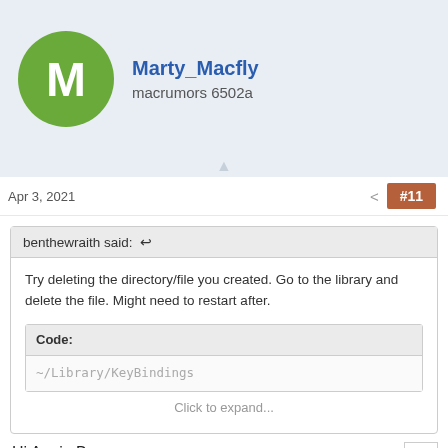Marty_Macfly
macrumors 6502a
Apr 3, 2021
#11
benthewraith said: ↩
Try deleting the directory/file you created. Go to the library and delete the file. Might need to restart after.
Code:
~/Library/KeyBindings
Click to expand...
Hi Again Ben,
Hey I got